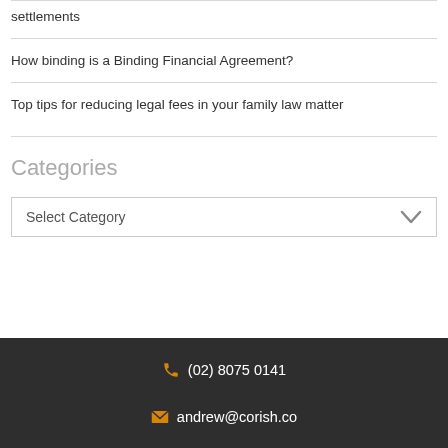settlements
How binding is a Binding Financial Agreement?
Top tips for reducing legal fees in your family law matter
Categories
Select Category
(02) 8075 0141  andrew@corish.co